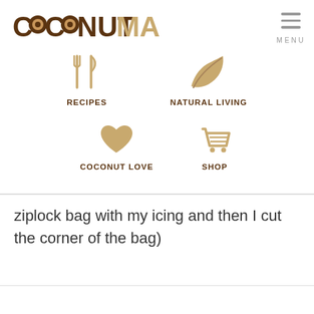[Figure (logo): Coconut Mama logo with stylized coconut letters]
[Figure (infographic): Navigation menu with four icons: Recipes (fork and knife), Natural Living (leaf), Coconut Love (heart), Shop (shopping cart)]
ziplock bag with my icing and then I cut the corner of the bag)